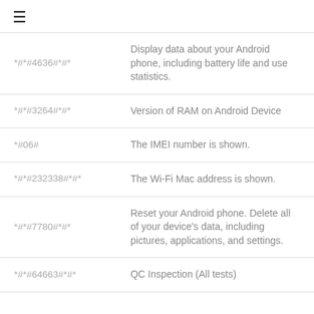≡
| Code | Description |
| --- | --- |
| *#*#4636#*#* | Display data about your Android phone, including battery life and use statistics. |
| *#*#3264#*#* | Version of RAM on Android Device |
| *#06# | The IMEI number is shown. |
| *#*#232338#*#* | The Wi-Fi Mac address is shown. |
| *#*#7780#*#* | Reset your Android phone. Delete all of your device's data, including pictures, applications, and settings. |
| *#*#64663#*#* | QC Inspection (All tests) |